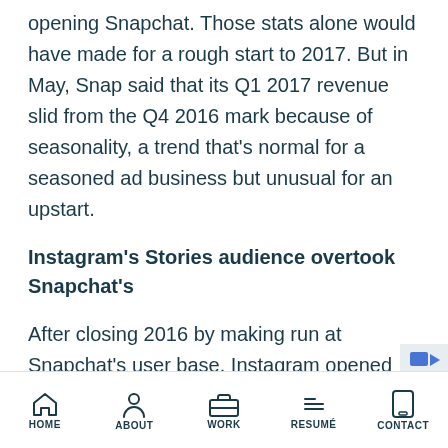opening Snapchat. Those stats alone would have made for a rough start to 2017. But in May, Snap said that its Q1 2017 revenue slid from the Q4 2016 mark because of seasonality, a trend that's normal for a seasoned ad business but unusual for an upstart.
Instagram's Stories audience overtook Snapchat's
After closing 2016 by making run at Snapchat's user base, Instagram opened 2017 by making a run at its rival's advertise
HOME  ABOUT  WORK  RESUMÉ  CONTACT